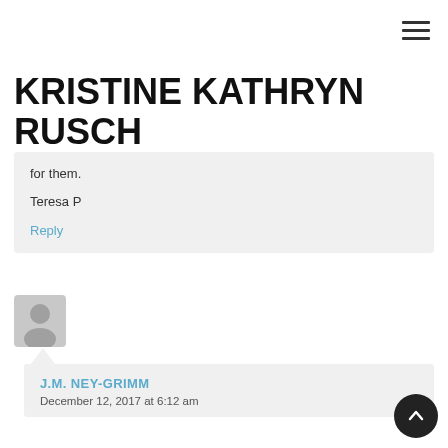≡ (navigation menu icon)
KRISTINE KATHRYN RUSCH
for them.

Teresa P
Reply
[Figure (illustration): Generic user avatar icon, grey circle with person silhouette]
J.M. NEY-GRIMM
December 12, 2017 at 6:12 am